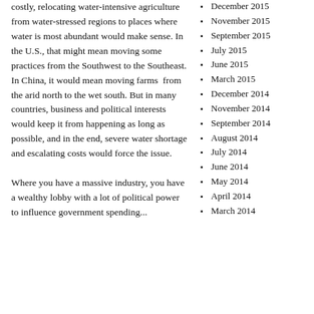costly, relocating water-intensive agriculture from water-stressed regions to places where water is most abundant would make sense. In the U.S., that might mean moving some practices from the Southwest to the Southeast. In China, it would mean moving farms from the arid north to the wet south. But in many countries, business and political interests would keep it from happening as long as possible, and in the end, severe water shortage and escalating costs would force the issue.

Where you have a massive industry, you have a wealthy lobby with a lot of political power to influence government spending...
December 2015
November 2015
September 2015
July 2015
June 2015
March 2015
December 2014
November 2014
September 2014
August 2014
July 2014
June 2014
May 2014
April 2014
March 2014